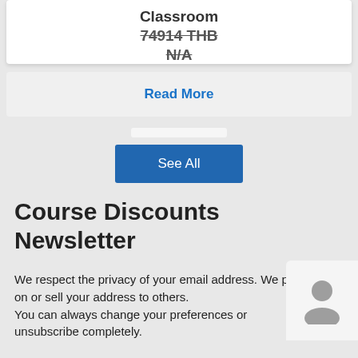Classroom
74914 THB
N/A
Read More
See All
Course Discounts Newsletter
We respect the privacy of your email address. We pass on or sell your address to others. You can always change your preferences or unsubscribe completely.